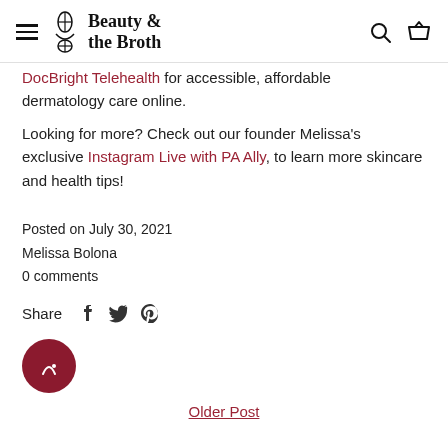Beauty & the Broth
DocBright Telehealth for accessible, affordable dermatology care online.
Looking for more? Check out our founder Melissa's exclusive Instagram Live with PA Ally, to learn more skincare and health tips!
Posted on July 30, 2021
Melissa Bolona
0 comments
Share
Older Post